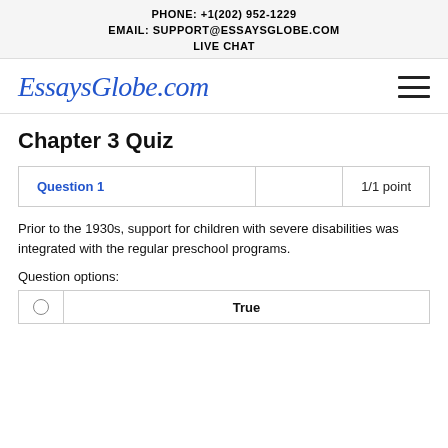PHONE: +1(202) 952-1229
EMAIL: SUPPORT@ESSAYSGLOBE.COM
LIVE CHAT
[Figure (logo): EssaysGlobe.com logo in blue italic serif font with hamburger menu icon]
Chapter 3 Quiz
| Question 1 |  | 1/1 point |
| --- | --- | --- |
Prior to the 1930s, support for children with severe disabilities was integrated with the regular preschool programs.
Question options:
|  | True |
| --- | --- |